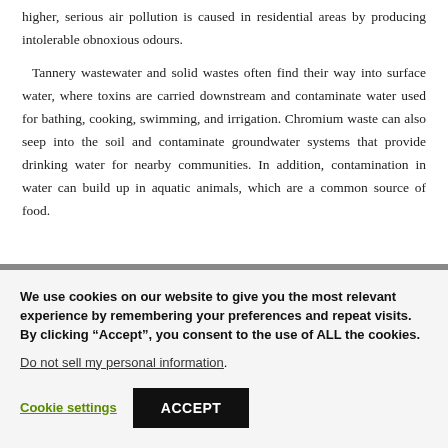higher, serious air pollution is caused in residential areas by producing intolerable obnoxious odours.
Tannery wastewater and solid wastes often find their way into surface water, where toxins are carried downstream and contaminate water used for bathing, cooking, swimming, and irrigation. Chromium waste can also seep into the soil and contaminate groundwater systems that provide drinking water for nearby communities. In addition, contamination in water can build up in aquatic animals, which are a common source of food.
We use cookies on our website to give you the most relevant experience by remembering your preferences and repeat visits. By clicking “Accept”, you consent to the use of ALL the cookies.
Do not sell my personal information.
Cookie settings   ACCEPT